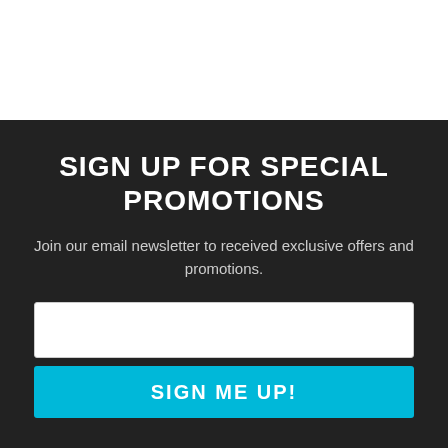SIGN UP FOR SPECIAL PROMOTIONS
Join our email newsletter to received exclusive offers and promotions.
[Figure (other): White input field for email entry]
SIGN ME UP!